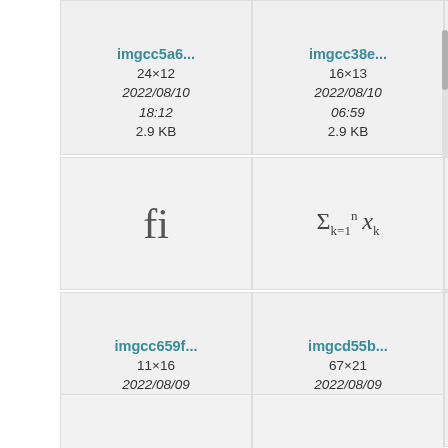[Figure (screenshot): File card for imgcc5a6... showing 24×12, 2022/08/10 18:12, 2.9 KB]
[Figure (screenshot): File card for imgcc38e... showing 16×13, 2022/08/10 06:59, 2.9 KB]
[Figure (screenshot): Partial file card (truncated)]
[Figure (math-figure): Preview showing ligature fi symbol]
[Figure (math-figure): Preview showing math formula sum from k=1 to n of x_k]
[Figure (screenshot): Partial preview (truncated)]
[Figure (screenshot): File card for imgcc659f... showing 11×16, 2022/08/09 10:07, 2.9 KB]
[Figure (screenshot): File card for imgcd55b... showing 67×21, 2022/08/09 13:31, 3.1 KB]
[Figure (screenshot): Partial file card (truncated)]
[Figure (math-figure): Preview showing therefore symbol (three dots)]
[Figure (math-figure): Preview showing 2H (deuterium symbol)]